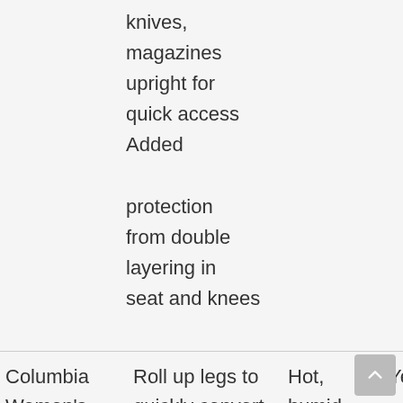knives, magazines upright for quick access Added protection from double layering in seat and knees
|  |  |  | Yes | No |
| --- | --- | --- | --- | --- |
| Columbia Women's Silver Ridge Convertible Pant | Roll up legs to quickly convert to shorts Lightweight | Hot, humid climates | Yes | No |